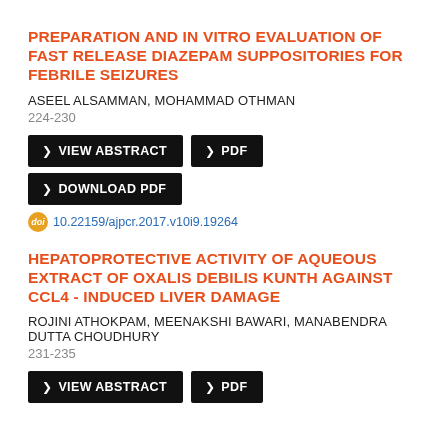PREPARATION AND IN VITRO EVALUATION OF FAST RELEASE DIAZEPAM SUPPOSITORIES FOR FEBRILE SEIZURES
ASEEL ALSAMMAN, MOHAMMAD OTHMAN
224-230
VIEW ABSTRACT | PDF | DOWNLOAD PDF
10.22159/ajpcr.2017.v10i9.19264
HEPATOPROTECTIVE ACTIVITY OF AQUEOUS EXTRACT OF OXALIS DEBILIS KUNTH AGAINST CCL4 - INDUCED LIVER DAMAGE
ROJINI ATHOKPAM, MEENAKSHI BAWARI, MANABENDRA DUTTA CHOUDHURY
231-235
VIEW ABSTRACT | PDF